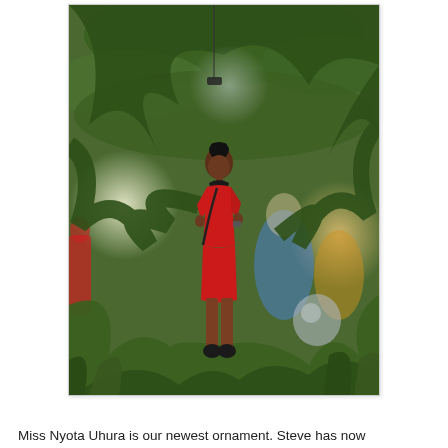[Figure (photo): A small figurine of Miss Nyota Uhura (in red Star Trek uniform) hanging as a Christmas tree ornament among green pine branches, with bokeh lights and blurred figures of other ornaments in the background.]
Miss Nyota Uhura is our newest ornament. Steve has now